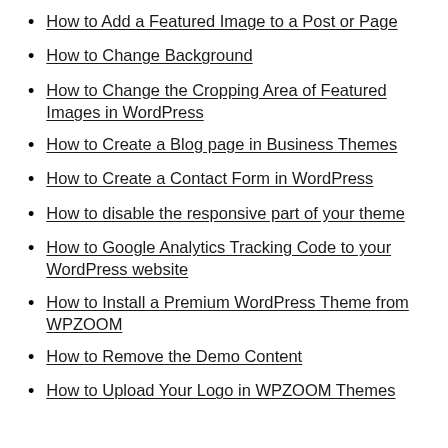How to Add a Featured Image to a Post or Page
How to Change Background
How to Change the Cropping Area of Featured Images in WordPress
How to Create a Blog page in Business Themes
How to Create a Contact Form in WordPress
How to disable the responsive part of your theme
How to Google Analytics Tracking Code to your WordPress website
How to Install a Premium WordPress Theme from WPZOOM
How to Remove the Demo Content
How to Upload Your Logo in WPZOOM Themes